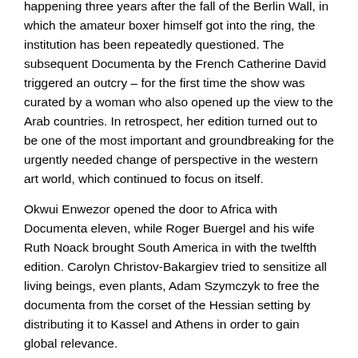happening three years after the fall of the Berlin Wall, in which the amateur boxer himself got into the ring, the institution has been repeatedly questioned. The subsequent Documenta by the French Catherine David triggered an outcry – for the first time the show was curated by a woman who also opened up the view to the Arab countries. In retrospect, her edition turned out to be one of the most important and groundbreaking for the urgently needed change of perspective in the western art world, which continued to focus on itself.
Okwui Enwezor opened the door to Africa with Documenta eleven, while Roger Buergel and his wife Ruth Noack brought South America in with the twelfth edition. Carolyn Christov-Bakargiev tried to sensitize all living beings, even plants, Adam Szymczyk to free the documenta from the corset of the Hessian setting by distributing it to Kassel and Athens in order to gain global relevance.